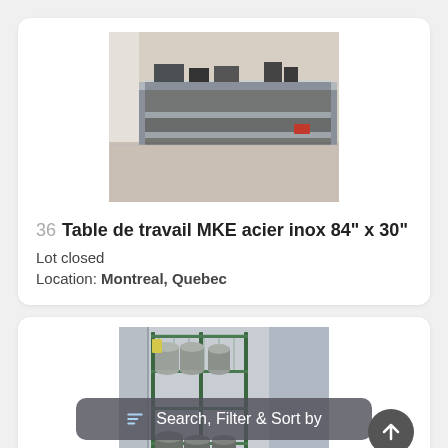[Figure (photo): Photo of a stainless steel work table (MKE) with two shelves, industrial kitchen setting]
36  Table de travail MKE acier inox 84" x 30"
Lot closed
Location: Montreal, Quebec
[Figure (photo): Photo of a green wire shelving unit with metal pots and containers in a commercial kitchen]
Search, Filter & Sort by